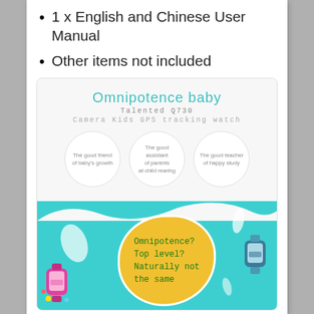1 x English and Chinese User Manual
Other items not included
[Figure (infographic): Omnipotence baby Talented Q730 Camera Kids GPS tracking watch promotional infographic with three circles (The good friend of baby's growth, The good assistant of parents at child rearing, The good teacher of happy study) and a teal background section with yellow bubble saying Omnipotence? Top level? Naturally not the same, with kids smartwatch images.]